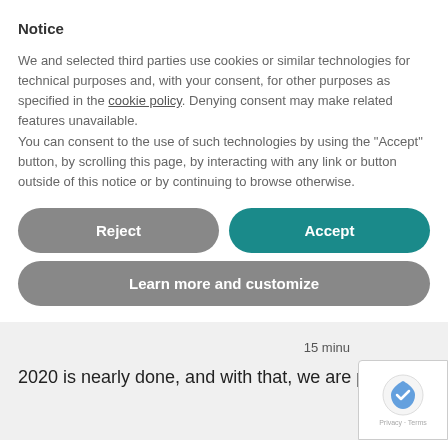Notice
We and selected third parties use cookies or similar technologies for technical purposes and, with your consent, for other purposes as specified in the cookie policy. Denying consent may make related features unavailable.
You can consent to the use of such technologies by using the "Accept" button, by scrolling this page, by interacting with any link or button outside of this notice or by continuing to browse otherwise.
Reject
Accept
Learn more and customize
15 minu
2020 is nearly done, and with that, we are pre